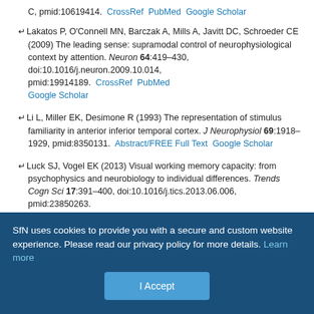C, pmid:10619414. CrossRef PubMed Google Scholar
Lakatos P, O'Connell MN, Barczak A, Mills A, Javitt DC, Schroeder CE (2009) The leading sense: supramodal control of neurophysiological context by attention. Neuron 64:419–430, doi:10.1016/j.neuron.2009.10.014, pmid:19914189. CrossRef PubMed Google Scholar
Li L, Miller EK, Desimone R (1993) The representation of stimulus familiarity in anterior inferior temporal cortex. J Neurophysiol 69:1918–1929, pmid:8350131. Abstract/FREE Full Text Google Scholar
Luck SJ, Vogel EK (2013) Visual working memory capacity: from psychophysics and neurobiology to individual differences. Trends Cogn Sci 17:391–400, doi:10.1016/j.tics.2013.06.006, pmid:23850263. CrossRef PubMed Google Scholar
SfN uses cookies to provide you with a secure and custom website experience. Please read our privacy policy for more details. Learn more